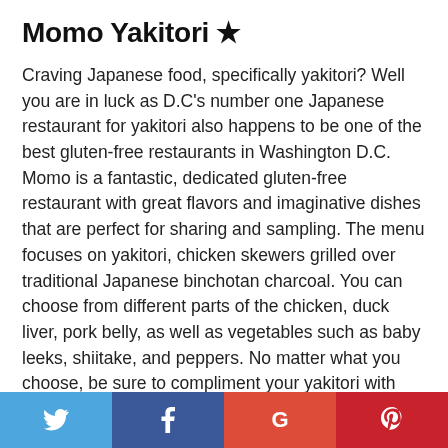Momo Yakitori ★
Craving Japanese food, specifically yakitori? Well you are in luck as D.C's number one Japanese restaurant for yakitori also happens to be one of the best gluten-free restaurants in Washington D.C. Momo is a fantastic, dedicated gluten-free restaurant with great flavors and imaginative dishes that are perfect for sharing and sampling. The menu focuses on yakitori, chicken skewers grilled over traditional Japanese binchotan charcoal. You can choose from different parts of the chicken, duck liver, pork belly, as well as vegetables such as baby leeks, shiitake, and peppers. No matter what you choose, be sure to compliment your yakitori with one of their fantastic cocktails. I also recommend their charcoal toasted marshmallow with black sesame buttercream for dessert. It's a dessert like no other.